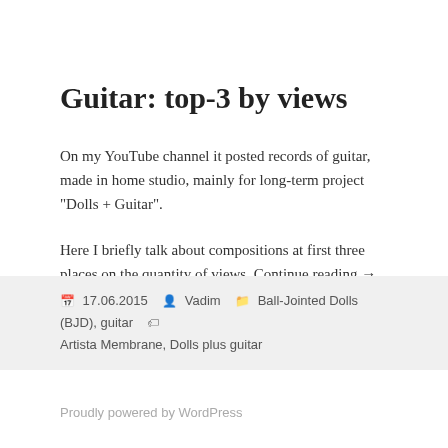Guitar: top-3 by views
On my YouTube channel it posted records of guitar, made in home studio, mainly for long-term project “Dolls + Guitar”.
Here I briefly talk about compositions at first three places on the quantity of views. Continue reading →
📅 17.06.2015   👤 Vadim   📁 Ball-Jointed Dolls (BJD), guitar   🏷 Artista Membrane, Dolls plus guitar
Proudly powered by WordPress